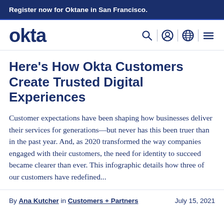Register now for Oktane in San Francisco.
[Figure (logo): Okta logo with navigation icons (search, user, globe, menu)]
Here's How Okta Customers Create Trusted Digital Experiences
Customer expectations have been shaping how businesses deliver their services for generations—but never has this been truer than in the past year. And, as 2020 transformed the way companies engaged with their customers, the need for identity to succeed became clearer than ever. This infographic details how three of our customers have redefined...
By Ana Kutcher in Customers + Partners   July 15, 2021